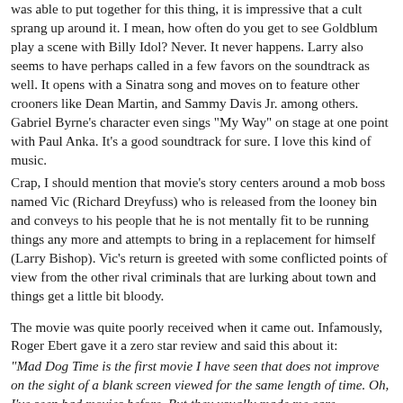was able to put together for this thing, it is impressive that a cult sprang up around it. I mean, how often do you get to see Goldblum play a scene with Billy Idol? Never. It never happens. Larry also seems to have perhaps called in a few favors on the soundtrack as well. It opens with a Sinatra song and moves on to feature other crooners like Dean Martin, and Sammy Davis Jr. among others. Gabriel Byrne's character even sings "My Way" on stage at one point with Paul Anka. It's a good soundtrack for sure. I love this kind of music.
Crap, I should mention that movie's story centers around a mob boss named Vic (Richard Dreyfuss) who is released from the looney bin and conveys to his people that he is not mentally fit to be running things any more and attempts to bring in a replacement for himself (Larry Bishop). Vic's return is greeted with some conflicted points of view from the other rival criminals that are lurking about town and things get a little bit bloody.
The movie was quite poorly received when it came out. Infamously, Roger Ebert gave it a zero star review and said this about it:
"Mad Dog Time is the first movie I have seen that does not improve on the sight of a blank screen viewed for the same length of time. Oh, I've seen bad movies before. But they usually made me care...